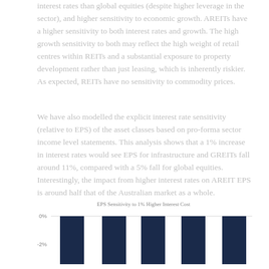interest rates than global equities (despite higher leverage in the sector), and higher sensitivity to economic growth. AREITs have a higher sensitivity to both interest rates and growth. The high growth sensitivity to both may reflect the high weight of retail centres within REITs and a substantial exposure to property development rather than just leasing, which is inherently riskier. As expected, REITs have no sensitivity to commodity prices.
We have also modelled the explicit interest rate sensitivity (relative to EPS) of the asset classes based on pro-forma sector income level statements. This analysis shows that a 1% increase in interest rates would see EPS for infrastructure and GREITs fall around 11%, compared with a 5% fall for global equities. Interestingly, the impact from higher interest rates on AREIT EPS is around half that of the Australian market as a whole.
[Figure (bar-chart): Bar chart showing EPS Sensitivity to 1% Higher Interest Cost. Five dark navy bars extending downward from 0% baseline, with y-axis labels at 0% and -2%. Chart is partially cut off at bottom.]